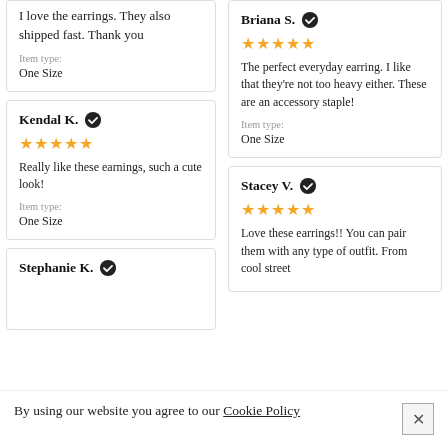I love the earrings. They also shipped fast. Thank you
Item type: One Size
Kendal K. ✔
★★★★★
Really like these earnings, such a cute look!
Item type: One Size
Stephanie K. ✔
Briana S. ✔
★★★★★
The perfect everyday earring. I like that they're not too heavy either. These are an accessory staple!
Item type: One Size
Stacey V. ✔
★★★★★
Love these earrings!! You can pair them with any type of outfit. From cool street
By using our website you agree to our Cookie Policy